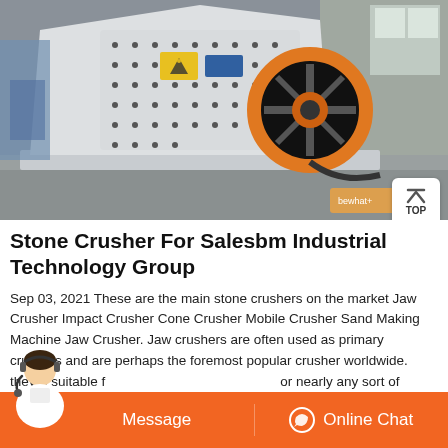[Figure (photo): Large white industrial stone crusher machine (impact crusher) with orange flywheel, displayed in an industrial warehouse/factory setting. Machine has bolt pattern housing and control panel labels visible.]
Stone Crusher For Salesbm Industrial Technology Group
Sep 03, 2021 These are the main stone crushers on the market Jaw Crusher Impact Crusher Cone Crusher Mobile Crusher Sand Making Machine Jaw Crusher. Jaw crushers are often used as primary crushers and are perhaps the foremost popular crusher worldwide. theyre suitable for nearly any sort of material.